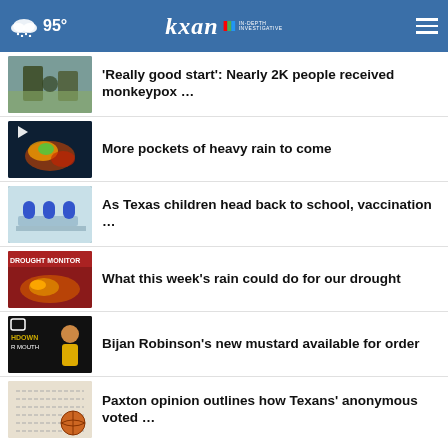95° kxan IN-DEPTH INVESTIGATIVE
'Really good start': Nearly 2K people received monkeypox …
More pockets of heavy rain to come
As Texas children head back to school, vaccination …
What this week's rain could do for our drought
Bijan Robinson's new mustard available for order
Paxton opinion outlines how Texans' anonymous voted …